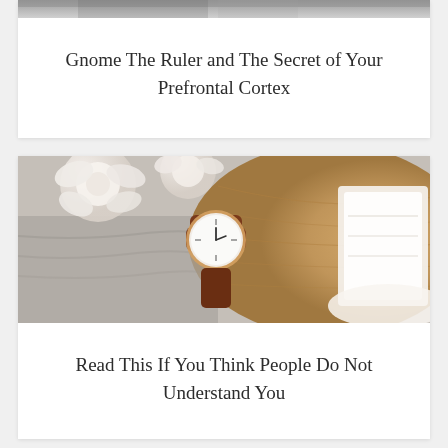[Figure (photo): Partial top photo showing a person, cropped — only bottom edge visible]
Gnome The Ruler and The Secret of Your Prefrontal Cortex
[Figure (photo): Flat lay photo of white roses, a rose-gold analog watch with brown leather strap, white towels, and a round wooden tray on a textured grey surface]
Read This If You Think People Do Not Understand You